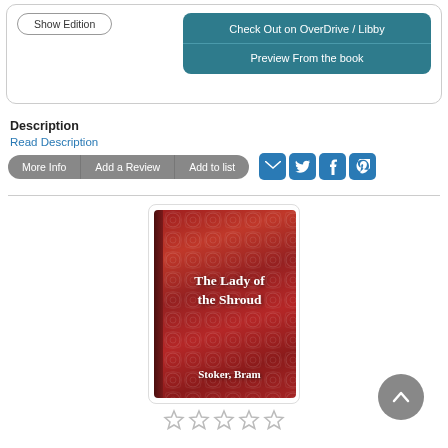Show Edition
Check Out on OverDrive / Libby
Preview From the book
Description
Read Description
More Info | Add a Review | Add to list
[Figure (illustration): Book cover of 'The Lady of the Shroud' by Stoker, Bram — dark red ornate cover with white title text]
Star rating row (5 empty stars)